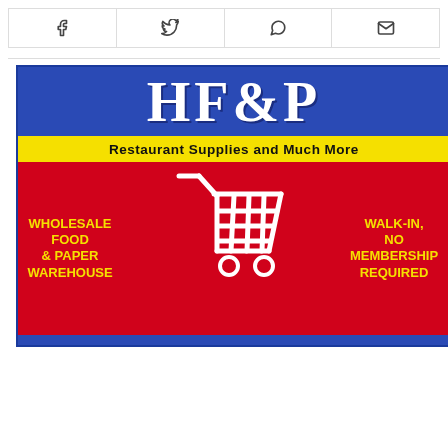[Figure (other): Social media share buttons bar with Facebook, Twitter, WhatsApp, and email icons]
[Figure (illustration): HF&P advertisement: blue header with 'HF&P' in large serif white letters, yellow band with 'Restaurant Supplies and Much More', red lower section with shopping cart graphic, 'WHOLESALE FOOD & PAPER WAREHOUSE' on left in yellow, 'WALK-IN, NO MEMBERSHIP REQUIRED' on right in yellow]